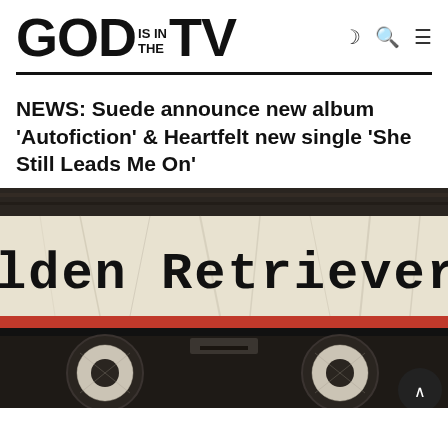GOD IS IN THE TV
NEWS: Suede announce new album 'Autofiction' & Heartfelt new single 'She Still Leads Me On'
[Figure (photo): Close-up photograph of a cassette tape label reading 'lden Retriever: 1992' in typewriter font on a worn, distressed white label strip. The cassette has a dark brown/black body with a red stripe. Two circular tape reels are visible at the bottom.]